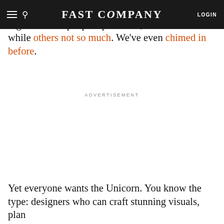FAST COMPANY
It's an old argument: should designers code? And it gets a lot of people up in arms, some in favor while others not so much. We've even chimed in before.
ADVERTISEMENT
Yet everyone wants the Unicorn. You know the type: designers who can craft stunning visuals, plan